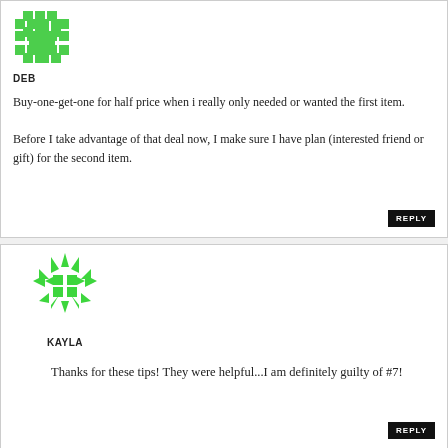[Figure (illustration): Green pixel art avatar for user DEB]
DEB
Buy-one-get-one for half price when i really only needed or wanted the first item.
Before I take advantage of that deal now, I make sure I have plan (interested friend or gift) for the second item.
[Figure (illustration): Green geometric/snowflake pixel art avatar for user KAYLA]
KAYLA
Thanks for these tips! They were helpful...I am definitely guilty of #7!